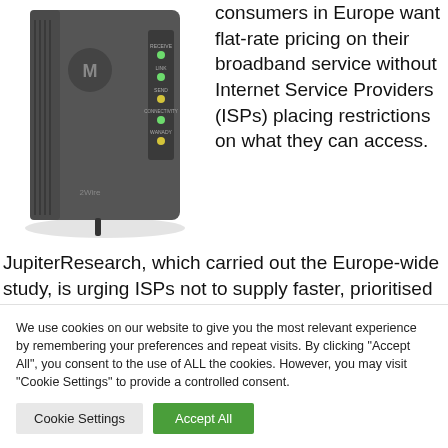[Figure (photo): Photo of a Motorola/2Wire cable modem/router device with indicator lights (RECEIVE, LINK, SEND, CONNECTIVITY, WANADY) visible on the front panel, shown at an angle against a white background.]
consumers in Europe want flat-rate pricing on their broadband service without Internet Service Providers (ISPs) placing restrictions on what they can access. JupiterResearch, which carried out the Europe-wide study, is urging ISPs not to supply faster, prioritised Internet access only to a
We use cookies on our website to give you the most relevant experience by remembering your preferences and repeat visits. By clicking "Accept All", you consent to the use of ALL the cookies. However, you may visit "Cookie Settings" to provide a controlled consent.